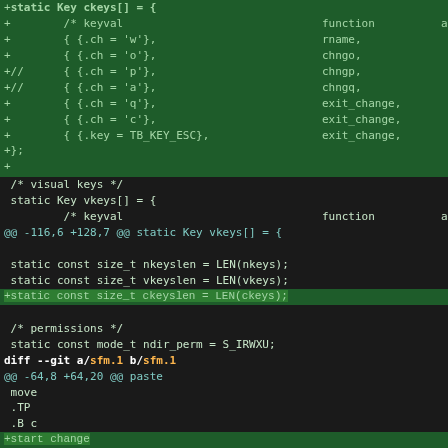+static Key ckeys[] = {
+	/* keyval				function	a
+		{ {.ch = 'w'},				rname,
+		{ {.ch = 'o'},				chngo,
+//		{ {.ch = 'p'},				chngp,
+//		{ {.ch = 'a'},				chngq,
+		{ {.ch = 'q'},				exit_change,
+		{ {.ch = 'c'},				exit_change,
+		{ {.key = TB_KEY_ESC},			exit_change,
+};
+
/* visual keys */
static Key vkeys[] = {
	/* keyval				function	au
@@ -116,6 +128,7 @@ static Key vkeys[] = {

static const size_t nkeyslen = LEN(nkeys);
static const size_t vkeyslen = LEN(vkeys);
+static const size_t ckeyslen = LEN(ckeys);

/* permissions */
static const mode_t ndir_perm = S_IRWXU;
diff --git a/sfm.1 b/sfm.1
@@ -64,8 +64,20 @@ paste
 move
 .TP
 .B c
+start change
+.TP
+.B cw